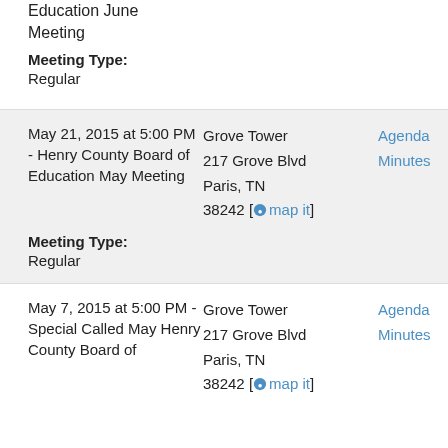Education June Meeting
Meeting Type:
Regular
May 21, 2015 at 5:00 PM - Henry County Board of Education May Meeting
Grove Tower 217 Grove Blvd Paris, TN 38242 [map it]
Agenda Minutes
Meeting Type:
Regular
May 7, 2015 at 5:00 PM - Special Called May Henry County Board of
Grove Tower 217 Grove Blvd Paris, TN 38242 [map it]
Agenda Minutes